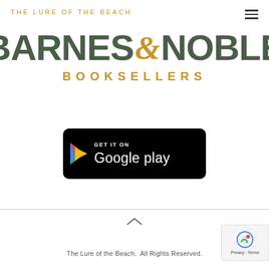THE LURE OF THE BEACH
[Figure (logo): Barnes & Noble Booksellers logo with dark green stylized text 'BARNES & NOBLE' and gold ampersand, with 'BOOKSELLERS' in gold tracking below]
[Figure (screenshot): Get it on Google Play button — black rounded rectangle with Google Play triangle logo and white text]
The Lure of the Beach.  All Rights Reserved.